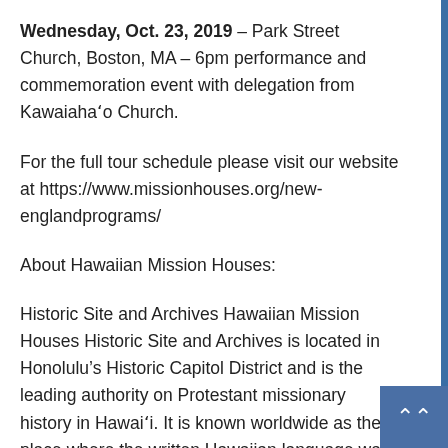Wednesday, Oct. 23, 2019 – Park Street Church, Boston, MA – 6pm performance and commemoration event with delegation from Kawaiaha'o Church.
For the full tour schedule please visit our website at https://www.missionhouses.org/new-englandprograms/
About Hawaiian Mission Houses:
Historic Site and Archives Hawaiian Mission Houses Historic Site and Archives is located in Honolulu's Historic Capitol District and is the leading authority on Protestant missionary history in Hawai'i. It is known worldwide as the place where the written Hawaiian language was developed through the collaborative efforts of the missionaries and the Ali'i and the Hawaiian people. It